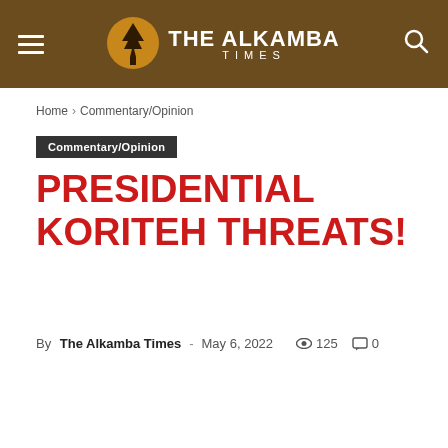THE ALKAMBA TIMES
Home › Commentary/Opinion
Commentary/Opinion
PRESIDENTIAL KORITEH THREATS!
By The Alkamba Times - May 6, 2022  125  0